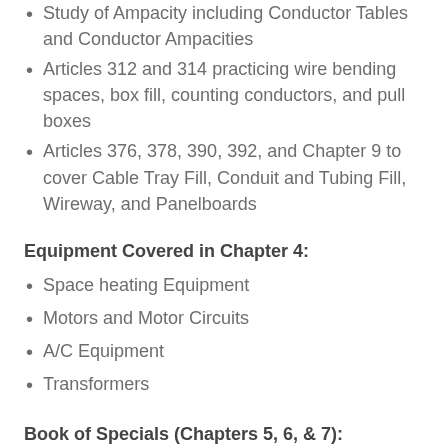Study of Ampacity including Conductor Tables and Conductor Ampacities
Articles 312 and 314 practicing wire bending spaces, box fill, counting conductors, and pull boxes
Articles 376, 378, 390, 392, and Chapter 9 to cover Cable Tray Fill, Conduit and Tubing Fill, Wireway, and Panelboards
Equipment Covered in Chapter 4:
Space heating Equipment
Motors and Motor Circuits
A/C Equipment
Transformers
Book of Specials (Chapters 5, 6, & 7):
Hazardous classified locations referencing Tables